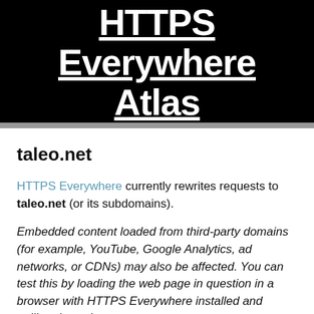HTTPS Everywhere Atlas
taleo.net
HTTPS Everywhere currently rewrites requests to taleo.net (or its subdomains).
Embedded content loaded from third-party domains (for example, YouTube, Google Analytics, ad networks, or CDNs) may also be affected. You can test this by loading the web page in question in a browser with HTTPS Everywhere installed and pulling down the